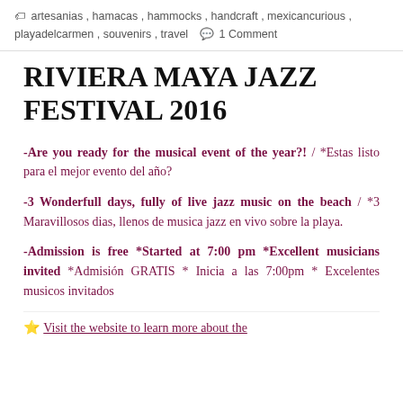artesanias, hamacas, hammocks, handcraft, mexicancurious, playadelcarmen, souvenirs, travel  1 Comment
RIVIERA MAYA JAZZ FESTIVAL 2016
-Are you ready for the musical event of the year?! /  *Estas listo para el mejor evento del año?
-3 Wonderfull days, fully of live jazz music on the beach /  *3 Maravillosos dias, llenos de musica jazz en vivo sobre la playa.
-Admission is free  *Started at 7:00 pm *Excellent musicians invited *Admisión GRATIS * Inicia a las 7:00pm * Excelentes musicos invitados
⭐ Visit the website to learn more about the